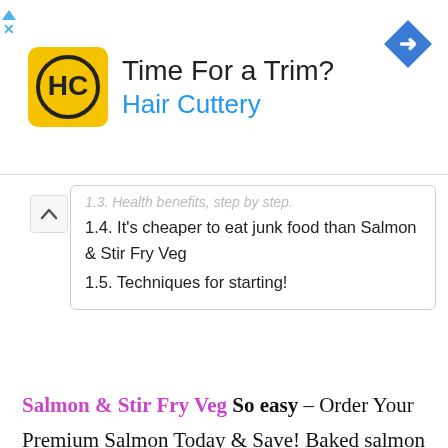[Figure (infographic): Advertisement banner for Hair Cuttery with yellow logo, text 'Time For a Trim?' and 'Hair Cuttery' in blue, and a blue diamond arrow icon.]
1.4. It's cheaper to eat junk food than Salmon & Stir Fry Veg
1.5. Techniques for starting!
Salmon & Stir Fry Veg So easy – Order Your Premium Salmon Today & Save! Baked salmon coated in a crunchy pecan-maple topping is a very tasty dinner that fits into a paleo-, gluten-free, and dairy-free lifestyle. By Health Nut Cucumber Cups with Dill Cream and Smoked Salmon Salmon / ˈ s æ m ə n / is the common name for several species of ray-finned fish in the family Salmonidae. Rosemary is a strong